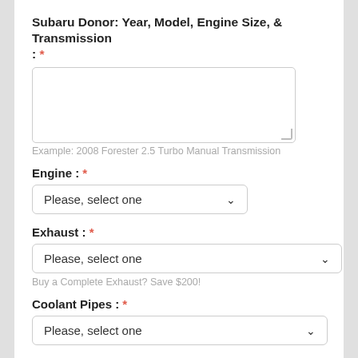Subaru Donor: Year, Model, Engine Size, & Transmission : *
Example: 2008 Forester 2.5 Turbo Manual Transmission
Engine : *
Please, select one
Exhaust : *
Please, select one
Buy a Complete Exhaust? Save $200!
Coolant Pipes : *
Please, select one
Wiring Harness Modification : *
Please, select one